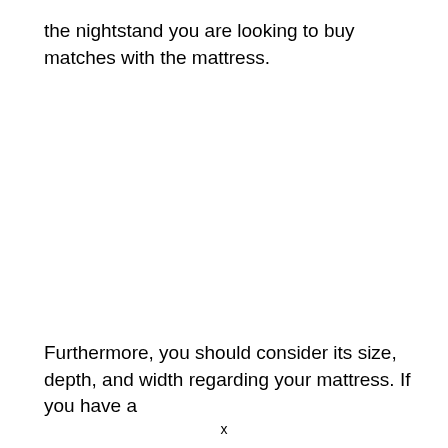the nightstand you are looking to buy matches with the mattress.
Furthermore, you should consider its size, depth, and width regarding your mattress. If you have a
x